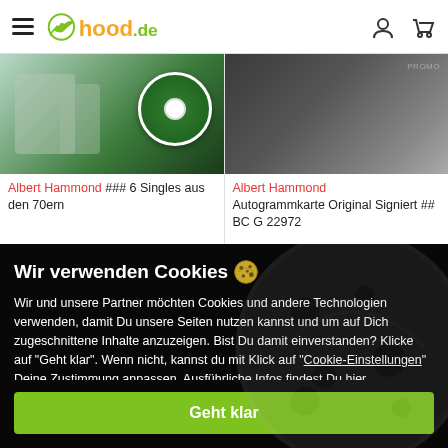hood.de
[Figure (photo): Product listing left: Albert Hammond 6 Singles aus den 70ern - vinyl record with green label and album artwork]
Albert Hammond ### 6 Singles aus den 70ern
[Figure (photo): Product listing right: Albert Hammond Autogrammkarte Original Signiert ## BC G 22972 - dark background image]
Albert Hammond Autogrammkarte Original Signiert ## BC G 22972
Wir verwenden Cookies 🍪
Wir und unsere Partner möchten Cookies und andere Technologien verwenden, damit Du unsere Seiten nutzen kannst und um auf Dich zugeschnittene Inhalte anzuzeigen. Bist Du damit einverstanden? Klicke auf "Geht klar". Wenn nicht, kannst du mit Klick auf "Cookie-Einstellungen" Deine Zustimmung anpassen. Ausführliche Infos findest Du hier.
Geht klar